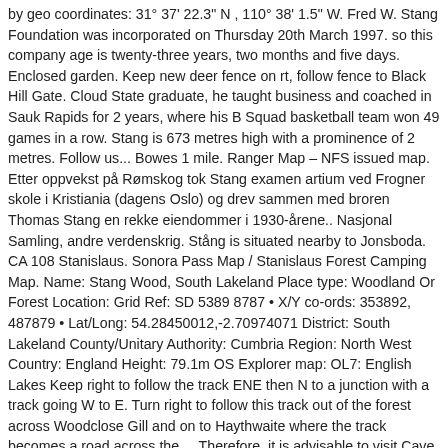by geo coordinates: 31° 37' 22.3" N , 110° 38' 1.5" W. Fred W. Stang Foundation was incorporated on Thursday 20th March 1997. so this company age is twenty-three years, two months and five days. Enclosed garden. Keep new deer fence on rt, follow fence to Black Hill Gate. Cloud State graduate, he taught business and coached in Sauk Rapids for 2 years, where his B Squad basketball team won 49 games in a row. Stang is 673 metres high with a prominence of 2 metres. Follow us... Bowes 1 mile. Ranger Map – NFS issued map. Etter oppvekst på Rømskog tok Stang examen artium ved Frogner skole i Kristiania (dagens Oslo) og drev sammen med broren Thomas Stang en rekke eiendommer i 1930-årene.. Nasjonal Samling, andre verdenskrig. Stång is situated nearby to Jonsboda. CA 108 Stanislaus. Sonora Pass Map / Stanislaus Forest Camping Map. Name: Stang Wood, South Lakeland Place type: Woodland Or Forest Location: Grid Ref: SD 5389 8787 • X/Y co-ords: 353892, 487879 • Lat/Long: 54.28450012,-2.70974071 District: South Lakeland County/Unitary Authority: Cumbria Region: North West Country: England Height: 79.1m OS Explorer map: OL7: English Lakes Keep right to follow the track ENE then N to a junction with a track going W to E. Turn right to follow this track out of the forest across Woodclose Gill and on to Haythwaite where the track becomes a road across the ... Therefore, it is advisable to visit Cave 2 as soon as possible to minimize unnecessary backtracking. Walk 200m down rd.Turn L by Lodge. "Pilgrimage of the Forest" Development of alternatives: Sister Dorothy Stang and the people's embodied hope: Romaria da